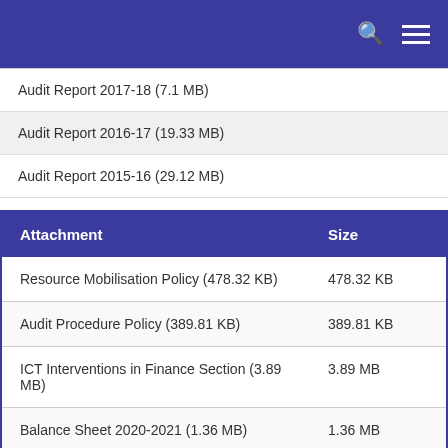Navigation bar with search and menu icons
| Audit Report 2017-18 (7.1 MB) |
| Audit Report 2016-17 (19.33 MB) |
| Audit Report 2015-16 (29.12 MB) |
| Attachment | Size |
| --- | --- |
| Resource Mobilisation Policy (478.32 KB) | 478.32 KB |
| Audit Procedure Policy (389.81 KB) | 389.81 KB |
| ICT Interventions in Finance Section (3.89 MB) | 3.89 MB |
| Balance Sheet 2020-2021 (1.36 MB) | 1.36 MB |
| Income and Expenditure for 2020-2021 | 722.99 |